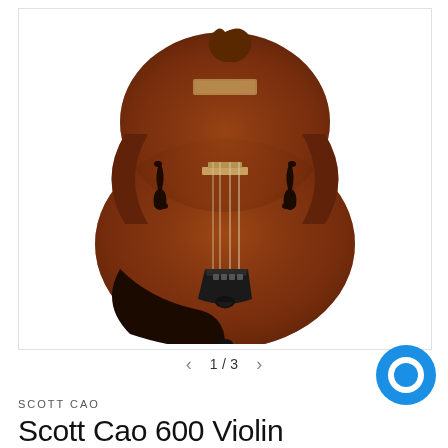[Figure (photo): Front view of a Scott Cao 600 Violin with reddish-brown varnish, black chinrest, and tailpiece, photographed on a white background.]
1 / 3
SCOTT CAO
Scott Cao 600 Violin